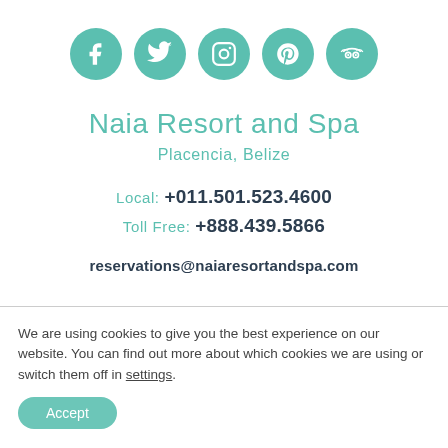[Figure (illustration): Five teal social media icon circles in a row: Facebook, Twitter, Instagram, Pinterest, TripAdvisor]
Naia Resort and Spa
Placencia, Belize
Local: +011.501.523.4600
Toll Free: +888.439.5866
reservations@naiaresortandspa.com
We are using cookies to give you the best experience on our website. You can find out more about which cookies we are using or switch them off in settings.
Accept